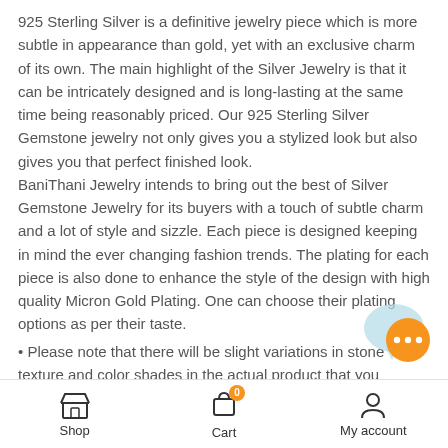925 Sterling Silver is a definitive jewelry piece which is more subtle in appearance than gold, yet with an exclusive charm of its own. The main highlight of the Silver Jewelry is that it can be intricately designed and is long-lasting at the same time being reasonably priced. Our 925 Sterling Silver Gemstone jewelry not only gives you a stylized look but also gives you that perfect finished look. BaniThani Jewelry intends to bring out the best of Silver Gemstone Jewelry for its buyers with a touch of subtle charm and a lot of style and sizzle. Each piece is designed keeping in mind the ever changing fashion trends. The plating for each piece is also done to enhance the style of the design with high quality Micron Gold Plating. One can choose their plating options as per their taste.
Please note that there will be slight variations in stone texture and color shades in the actual product that you receive. Stone quality or grade will be same.
All our jewelry is Micron Plated which is higher quality as
Shop  Cart  My account